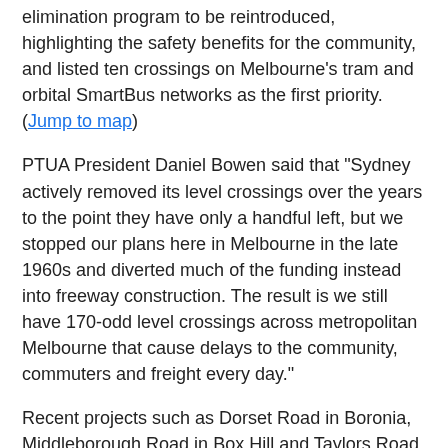elimination program to be reintroduced, highlighting the safety benefits for the community, and listed ten crossings on Melbourne's tram and orbital SmartBus networks as the first priority. (Jump to map)
PTUA President Daniel Bowen said that "Sydney actively removed its level crossings over the years to the point they have only a handful left, but we stopped our plans here in Melbourne in the late 1960s and diverted much of the funding instead into freeway construction. The result is we still have 170-odd level crossings across metropolitan Melbourne that cause delays to the community, commuters and freight every day."
Recent projects such as Dorset Road in Boronia, Middleborough Road in Box Hill and Taylors Road in St Albans have successfully highlighted the safety benefits to the